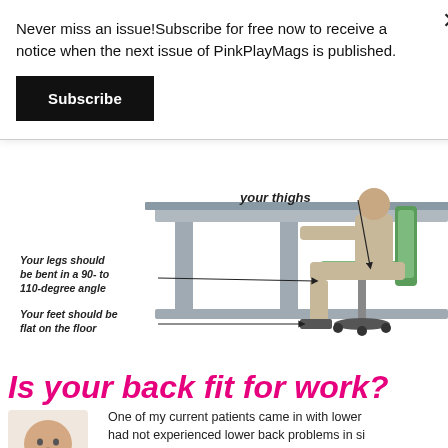Never miss an issue!Subscribe for free now to receive a notice when the next issue of PinkPlayMags is published.
Subscribe
[Figure (illustration): Ergonomic diagram showing a person seated at a desk with labels: 'your thighs', 'Your legs should be bent in a 90- to 110-degree angle', 'Your feet should be flat on the floor'. Arrows point to the corresponding body parts.]
Is your back fit for work?
[Figure (photo): Portrait photo of a man, head and shoulders, middle-aged.]
One of my current patients came in with lower had not experienced lower back problems in si